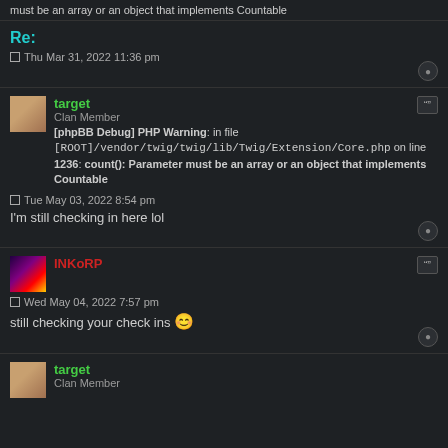must be an array or an object that implements Countable
Re:
Thu Mar 31, 2022 11:36 pm
target
Clan Member
[phpBB Debug] PHP Warning: in file [ROOT]/vendor/twig/twig/lib/Twig/Extension/Core.php on line 1236: count(): Parameter must be an array or an object that implements Countable
Tue May 03, 2022 8:54 pm
I'm still checking in here lol
INKoRP
Wed May 04, 2022 7:57 pm
still checking your check ins 😊
target
Clan Member